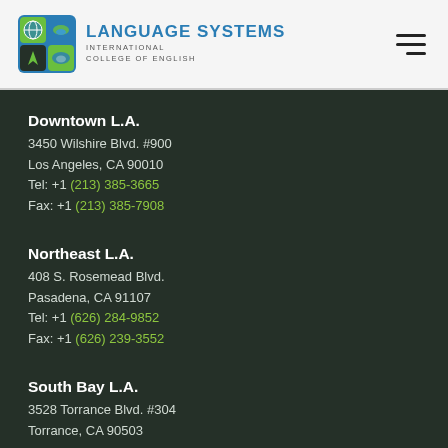Language Systems International College of English
Downtown L.A.
3450 Wilshire Blvd. #900
Los Angeles, CA 90010
Tel: +1 (213) 385-3665
Fax: +1 (213) 385-7908
Northeast L.A.
408 S. Rosemead Blvd.
Pasadena, CA 91107
Tel: +1 (626) 284-9852
Fax: +1 (626) 239-3552
South Bay L.A.
3528 Torrance Blvd. #304
Torrance, CA 90503